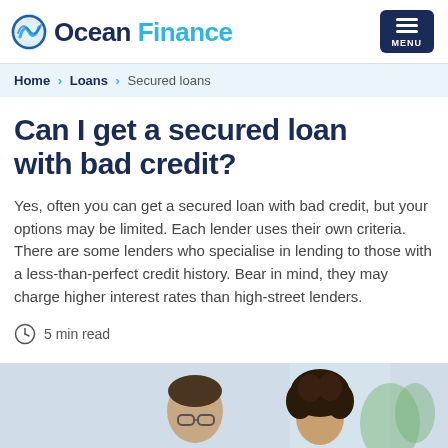Ocean Finance — MENU
Home > Loans > Secured loans
Can I get a secured loan with bad credit?
Yes, often you can get a secured loan with bad credit, but your options may be limited. Each lender uses their own criteria. There are some lenders who specialise in lending to those with a less-than-perfect credit history. Bear in mind, they may charge higher interest rates than high-street lenders.
5 min read
[Figure (photo): Two people sitting together, appearing to review financial documents; a man with glasses and a woman with curly hair.]